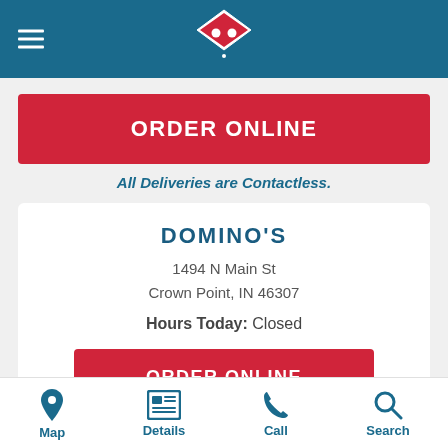[Figure (logo): Domino's Pizza logo on teal/blue header background with hamburger menu icon]
ORDER ONLINE
All Deliveries are Contactless.
DOMINO'S
1494 N Main St
Crown Point, IN 46307
Hours Today: Closed
ORDER ONLINE
[Figure (infographic): Bottom navigation bar with Map, Details, Call, and Search icons]